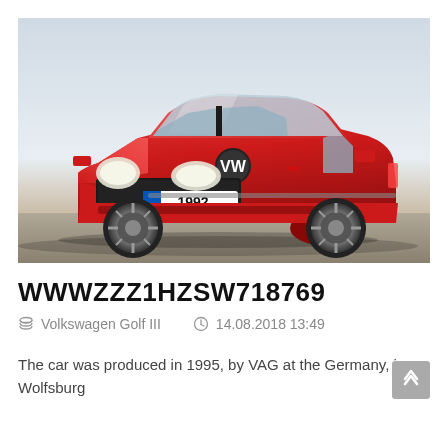[Figure (photo): Red Volkswagen Golf III with license plate reading '1992', photographed in motion against a light grey sky background.]
WWWZZZ1HZSW718769
Volkswagen Golf III   14.08.2018 13:49
The car was produced in 1995, by VAG at the Germany, in Wolfsburg